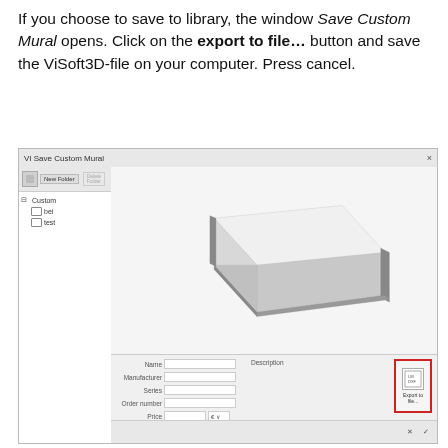If you choose to save to library, the window Save Custom Mural opens. Click on the export to file… button and save the ViSoft3D-file on your computer. Press cancel.
[Figure (screenshot): Screenshot of the ViSoft 'Save Custom Mural' dialog window showing a 3D preview of a rectangular white mural tile with grey edges, a folder tree on the left with 'Custom' folder expanded showing 'bei' and 'test' subfolders, form fields for Name, Manufacturer, Series, Order number, Price and Description, and an 'Export to file…' button highlighted with a red border in the bottom right.]